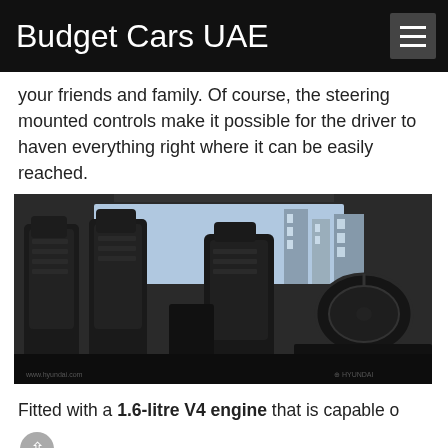Budget Cars UAE
your friends and family. Of course, the steering mounted controls make it possible for the driver to haven everything right where it can be easily reached.
[Figure (photo): Car interior photo showing dark leather seats (rear and front), steering wheel, and cityscape visible through windows. Hyundai branding visible.]
Fitted with a 1.6-litre V4 engine that is capable of producing 137 horsepower and a torque of 123 lb-ft, the sedan has a 6-speed manual